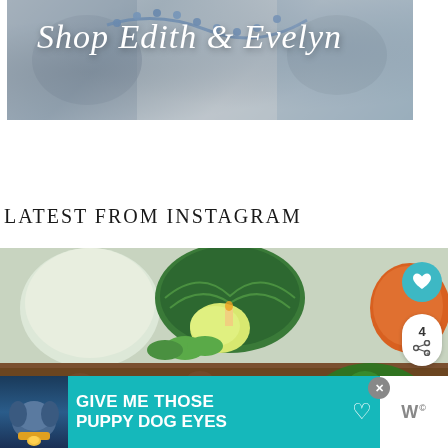[Figure (photo): Shop Edith & Evelyn banner with decorative jewelry and fabric in grey tones, with italic white text overlay reading 'Shop Edith & Evelyn']
LATEST FROM INSTAGRAM
[Figure (photo): Instagram photo showing decorative items on a wooden shelf including melons, white ceramic dishes, green boxwood wreath, and a small grey dog. Social sharing buttons (heart and share) visible on the right side. 'What's Next' panel showing 'Front Porch Refresh with...' overlay in bottom right.]
[Figure (screenshot): Advertisement banner reading 'GIVE ME THOSE PUPPY DOG EYES' in bold white text on teal background with dog graphic on left and heart icon. Close button visible. Logo 'W' on right side.]